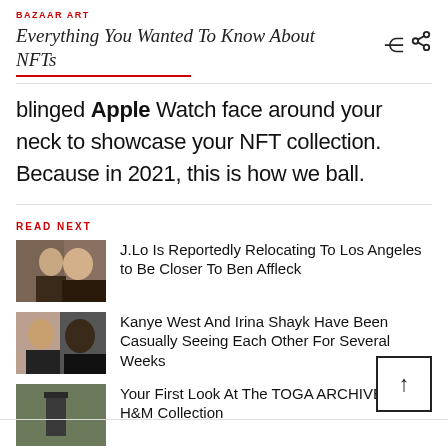BAZAAR ART
Everything You Wanted To Know About NFTs
blinged Apple Watch face around your neck to showcase your NFT collection. Because in 2021, this is how we ball.
READ NEXT
J.Lo Is Reportedly Relocating To Los Angeles to Be Closer To Ben Affleck
Kanye West And Irina Shayk Have Been Casually Seeing Each Other For Several Weeks
Your First Look At The TOGA ARCHIVES x H&M Collection